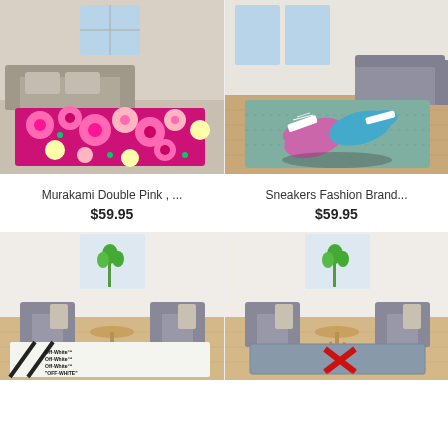[Figure (photo): Living room with a pink floral Murakami-style rug on floor, sofa in background]
Murakami Double Pink , ...
$59.95
[Figure (photo): Living room with a teal rug featuring large cartoon sneakers graphic, sofa in background]
Sneakers Fashion Brand...
$59.95
[Figure (photo): Modern room with Off-White branded white rug with diagonal stripes, grey armchairs]
[Figure (photo): Modern room with Off-White red logo rug on blue background, grey armchairs]